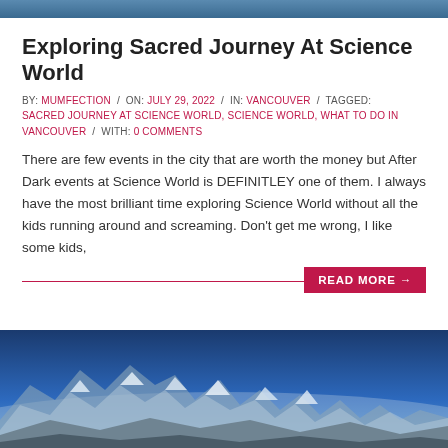[Figure (photo): Top cropped photo strip, appears to be an outdoor/nature scene]
Exploring Sacred Journey At Science World
BY: MUMFECTION / ON: JULY 29, 2022 / IN: VANCOUVER / TAGGED: SACRED JOURNEY AT SCIENCE WORLD, SCIENCE WORLD, WHAT TO DO IN VANCOUVER / WITH: 0 COMMENTS
There are few events in the city that are worth the money but After Dark events at Science World is DEFINITLEY one of them. I always have the most brilliant time exploring Science World without all the kids running around and screaming. Don't get me wrong, I like some kids,
READ MORE →
[Figure (photo): Mountain landscape with snow-capped peaks under a blue sky]